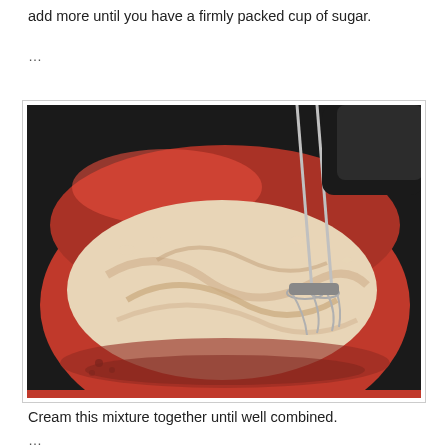add more until you have a firmly packed cup of sugar.
…
[Figure (photo): A red mixing bowl with creamed butter and sugar mixture being mixed by a hand electric mixer with visible beater attachments. The batter is pale/beige with streaks. The mixer handle is black and the beaters are silver.]
Cream this mixture together until well combined.
…